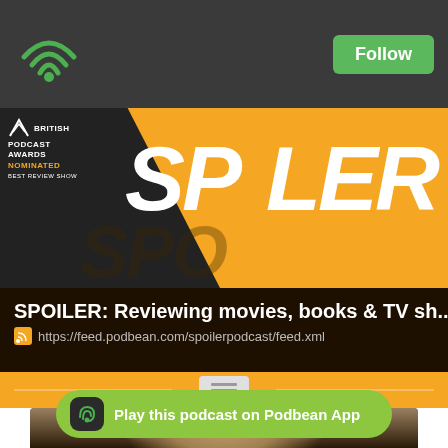[Figure (screenshot): Podbean podcast app page for SPOILER podcast showing Follow button, British Podcast Awards nominated badge, SPOILER logo, podcast title, feed URL, navigation icon, episode thumbnail photo, and Play on Podbean App bar]
SPOILER: Reviewing movies, books & TV sh...
https://feed.podbean.com/spoilerpodcast/feed.xml
Play this podcast on Podbean App